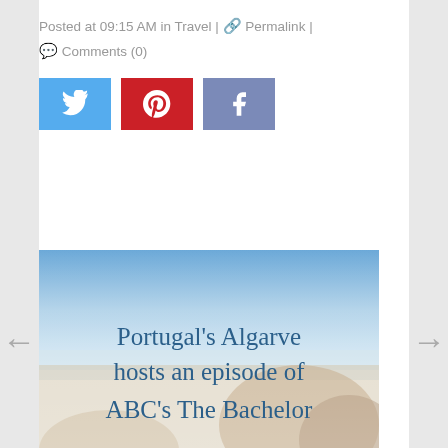Posted at 09:15 AM in Travel | 🔗 Permalink | 💬 Comments (0)
[Figure (other): Social sharing buttons: Twitter (blue), Pinterest (red), Facebook (slate blue)]
[Figure (other): Article preview card with coastal cliff scenery background. Title reads: Portugal's Algarve hosts an episode of ABC's The Bachelor. Date partially visible: March 28, 2018.]